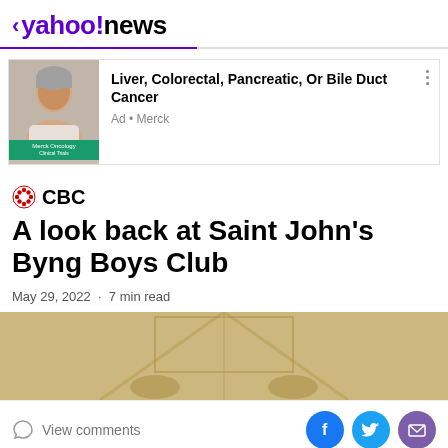< yahoo!news
[Figure (screenshot): Yahoo News mobile app header with purple logo and back chevron]
Liver, Colorectal, Pancreatic, Or Bile Duct Cancer
Ad • Merck
CBC
A look back at Saint John's Byng Boys Club
May 29, 2022  ·  7 min read
[Figure (photo): Sepia-toned architectural photo, partial view of a building ceiling/roof structure]
View comments